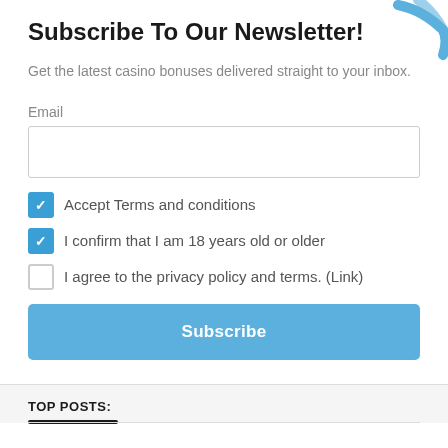[Figure (illustration): Blue decorative graphic in top-right corner, partially cut off]
Subscribe To Our Newsletter!
Get the latest casino bonuses delivered straight to your inbox.
Email
Accept Terms and conditions
I confirm that I am 18 years old or older
I agree to the privacy policy and terms. (Link)
Subscribe
TOP POSTS: